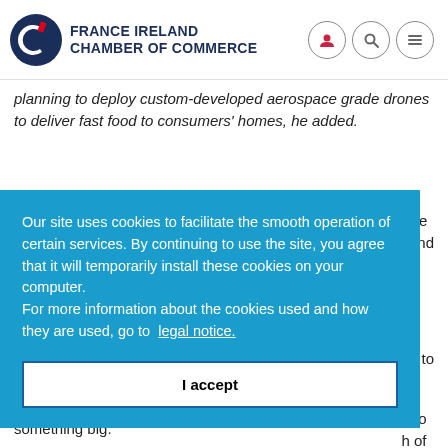FRANCE IRELAND CHAMBER OF COMMERCE
planning to deploy custom-developed aerospace grade drones to deliver fast food to consumers' homes, he added.
Our site uses cookies to facilitate the smooth operation of certain services. By continuing to use the site, you agree that it will temporarily install these cookies on your computer.
For more information about the cookies used and how they are used, go to legal notice.
I accept
something big.